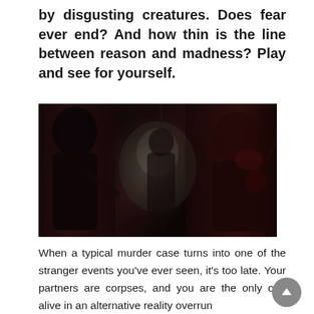by disgusting creatures. Does fear ever end? And how thin is the line between reason and madness? Play and see for yourself.
[Figure (photo): Dark horror video game screenshot showing a character holding a weapon confronting grotesque, blood-covered creatures in a dimly lit environment with atmospheric smoke/mist.]
When a typical murder case turns into one of the stranger events you've ever seen, it's too late. Your partners are corpses, and you are the only one alive in an alternative reality overrun